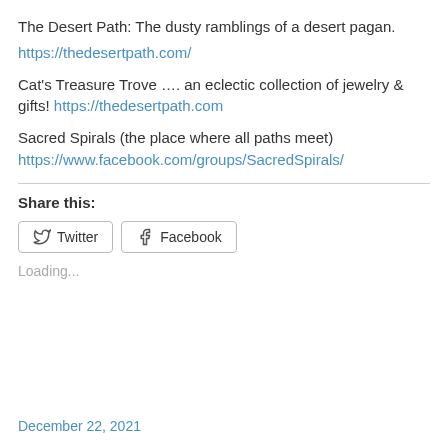The Desert Path: The dusty ramblings of a desert pagan.
https://thedesertpath.com/
Cat's Treasure Trove …. an eclectic collection of jewelry & gifts! https://thedesertpath.com
Sacred Spirals (the place where all paths meet)
https://www.facebook.com/groups/SacredSpirals/
Share this:
Loading...
December 22, 2021